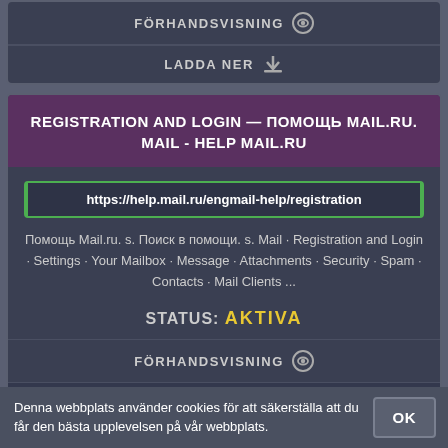FÖRHANDSVISNING
LADDA NER
REGISTRATION AND LOGIN — ПОМОЩЬ MAIL.RU. MAIL - HELP MAIL.RU
https://help.mail.ru/engmail-help/registration
Помощь Mail.ru. s. Поиск в помощи. s. Mail · Registration and Login · Settings · Your Mailbox · Message · Attachments · Security · Spam · Contacts · Mail Clients ...
STATUS: AKTIVA
FÖRHANDSVISNING
LADDA NER
Denna webbplats använder cookies för att säkerställa att du får den bästa upplevelsen på vår webbplats.